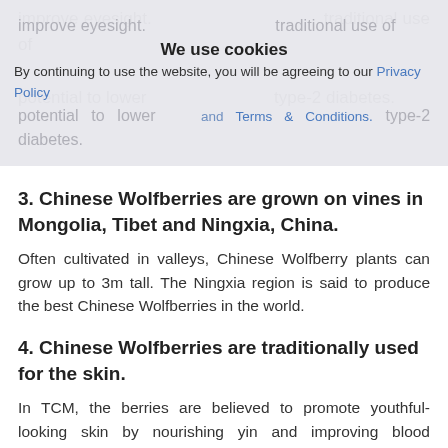improve eyesight. They may also help type-2 diabetes. potential to lower type-2 diabetes.
We use cookies
By continuing to use the website, you will be agreeing to our Privacy Policy and Terms & Conditions.
3. Chinese Wolfberries are grown on vines in Mongolia, Tibet and Ningxia, China.
Often cultivated in valleys, Chinese Wolfberry plants can grow up to 3m tall. The Ningxia region is said to produce the best Chinese Wolfberries in the world.
4. Chinese Wolfberries are traditionally used for the skin.
In TCM, the berries are believed to promote youthful-looking skin by nourishing yin and improving blood production.
5. If you take blood thinners, Chinese Wolfberries may not be for you.